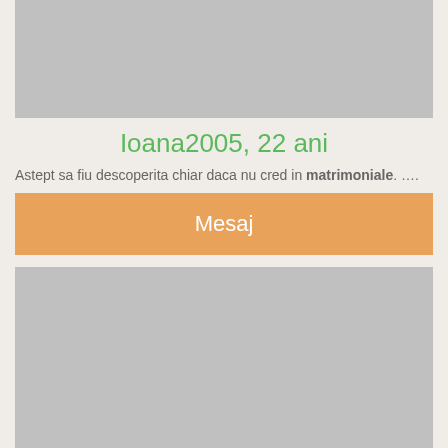[Figure (photo): Grey placeholder image for profile photo (top)]
Ioana2005, 22 ani
Astept sa fiu descoperita chiar daca nu cred in matrimoniale. ….
Mesaj
[Figure (photo): Grey placeholder image for profile photo (bottom, large)]
Cris221, 30 ani